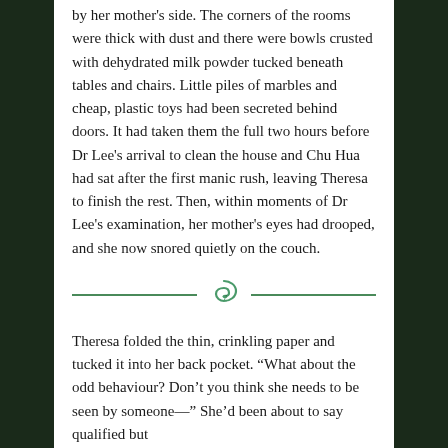by her mother's side. The corners of the rooms were thick with dust and there were bowls crusted with dehydrated milk powder tucked beneath tables and chairs. Little piles of marbles and cheap, plastic toys had been secreted behind doors. It had taken them the full two hours before Dr Lee's arrival to clean the house and Chu Hua had sat after the first manic rush, leaving Theresa to finish the rest. Then, within moments of Dr Lee's examination, her mother's eyes had drooped, and she now snored quietly on the couch.
[Figure (illustration): Decorative section break with two horizontal green lines flanking a small green snake/serpent illustration in the center]
Theresa folded the thin, crinkling paper and tucked it into her back pocket. “What about the odd behaviour? Don’t you think she needs to be seen by someone—” She’d been about to say qualified but